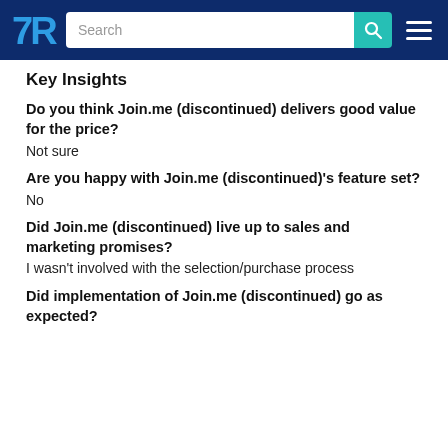TrustRadius — Search
Key Insights
Do you think Join.me (discontinued) delivers good value for the price?
Not sure
Are you happy with Join.me (discontinued)'s feature set?
No
Did Join.me (discontinued) live up to sales and marketing promises?
I wasn't involved with the selection/purchase process
Did implementation of Join.me (discontinued) go as expected?